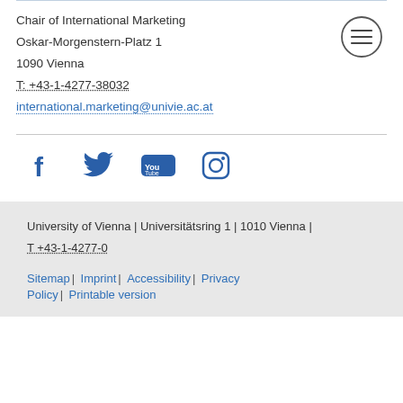Chair of International Marketing
Oskar-Morgenstern-Platz 1
1090 Vienna
T: +43-1-4277-38032
international.marketing@univie.ac.at
[Figure (other): Hamburger menu icon (three horizontal lines in a circle)]
[Figure (other): Social media icons: Facebook, Twitter, YouTube, Instagram]
University of Vienna | Universitätsring 1 | 1010 Vienna | T +43-1-4277-0
Sitemap | Imprint | Accessibility | Privacy Policy | Printable version